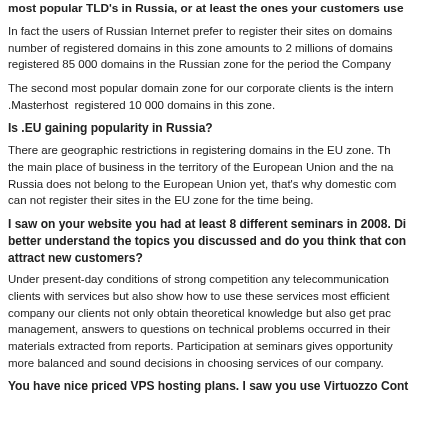most popular TLD's in Russia, or at least the ones your customers use
In fact the users of Russian Internet prefer to register their sites on domains... number of registered domains in this zone amounts to 2 millions of domains... registered 85 000 domains in the Russian zone for the period the Company...
The second most popular domain zone for our corporate clients is the intern... .Masterhost registered 10 000 domains in this zone.
Is .EU gaining popularity in Russia?
There are geographic restrictions in registering domains in the EU zone. Th... the main place of business in the territory of the European Union and the na... Russia does not belong to the European Union yet, that's why domestic com... can not register their sites in the EU zone for the time being.
I saw on your website you had at least 8 different seminars in 2008. Di... better understand the topics you discussed and do you think that con... attract new customers?
Under present-day conditions of strong competition any telecommunication... clients with services but also show how to use these services most efficient... company our clients not only obtain theoretical knowledge but also get prac... management, answers to questions on technical problems occurred in their... materials extracted from reports. Participation at seminars gives opportunity... more balanced and sound decisions in choosing services of our company.
You have nice priced VPS hosting plans. I saw you use Virtuozzo Cont...